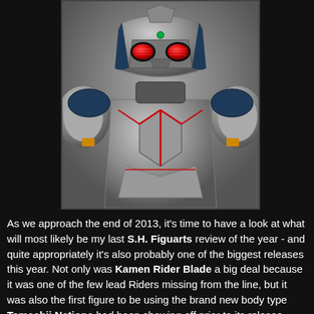[Figure (photo): Close-up photo of a Kamen Rider Blade S.H. Figuarts action figure showing the upper body and helmet. The figure has silver and dark blue armor with red eye lenses, red line detailing on the chest, yellow accents on the shoulders, and metallic finish throughout.]
As we approach the end of 2013, it's time to have a look at what will most likely be my last S.H. Figuarts review of the year - and quite appropriately it's also probably one of the biggest releases this year. Not only was Kamen Rider Blade a big deal because it was one of the few lead Riders missing from the line, but it was also the first figure to be using the brand new body type Tamashii Nations had been showing off prior to its release. After instantly selling out